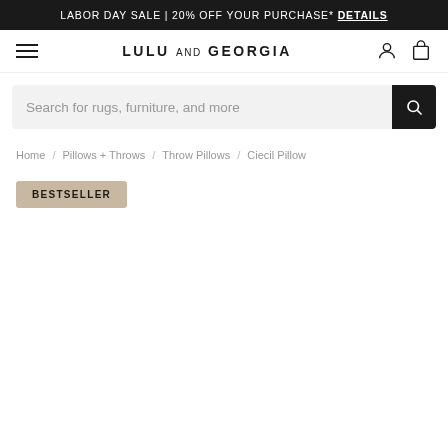LABOR DAY SALE | 20% OFF YOUR PURCHASE* DETAILS
LULU AND GEORGIA
Search for rugs, furniture, and more
Home / Pillows + Throws / Throw Pillows / Ciecil Pillow
BESTSELLER